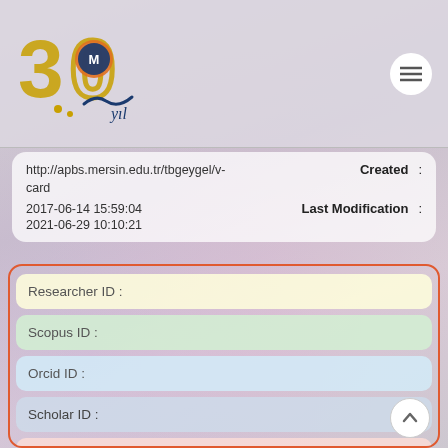[Figure (logo): Mersin University 30th anniversary logo with gold '30' text, university emblem, and 'yıl' text]
http://apbs.mersin.edu.tr/tbgeygel/v-card
Created :
2017-06-14 15:59:04
Last Modification :
2021-06-29 10:10:21
Researcher ID :
Scopus ID :
Orcid ID :
Scholar ID :
h-index :
Publons ID :